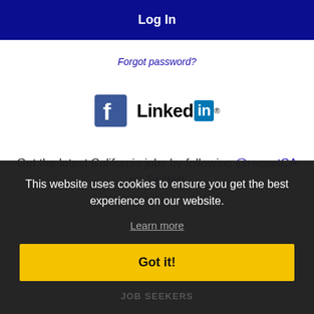Log In
Forgot password?
[Figure (logo): Facebook and LinkedIn social login icons]
Get the latest California jobs by following @recnetCA on Twitter!
Montebello RSS job feeds
This website uses cookies to ensure you get the best experience on our website.
Learn more
Got it!
JOB SEEKERS